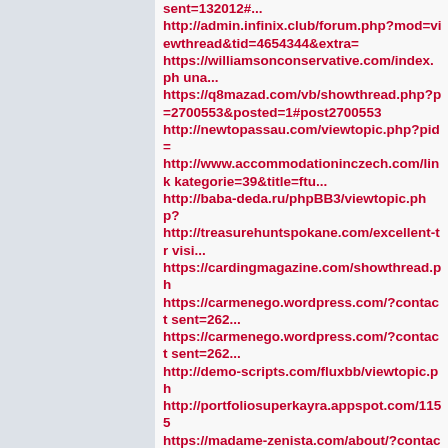sent=132012#...
http://admin.infinix.club/forum.php?mod=viewthread&tid=4654344&extra=
https://williamsonconservative.com/index.ph una...
https://q8mazad.com/vb/showthread.php?p=2700553&posted=1#post2700553
http://newtopassau.com/viewtopic.php?pid=
http://www.accommodationinczech.com/link kategorie=39&title=ftu...
http://baba-deda.ru/phpBB3/viewtopic.php?
http://treasurehuntspokane.com/excellent-tr visi...
https://cardingmagazine.com/showthread.ph
https://carmenego.wordpress.com/?contact sent=262...
https://carmenego.wordpress.com/?contact sent=262...
http://demo-scripts.com/fluxbb/viewtopic.ph
http://portfoliosuperkayra.appspot.com/1155
https://madame-zenista.com/about/?contact sent=20...
https://williamsonconservative.com/index.ph una...